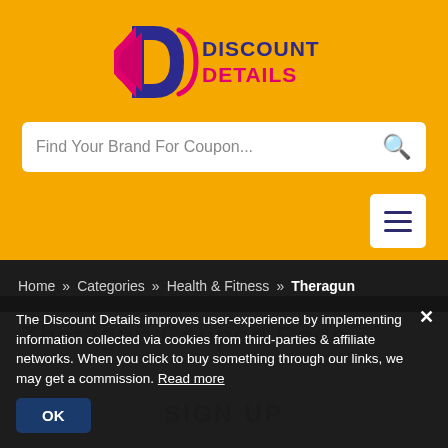[Figure (logo): Discount Details logo with purple D icon and magenta/purple text on yellow background]
Find Your Brand For Coupon...
Home » Categories » Health & Fitness » Theragun
Theragun Coupon Code
The Discount Details improves user-experience by implementing information collected via cookies from third-parties & affiliate networks. When you click to buy something through our links, we may get a commission. Read more
SIGN UP